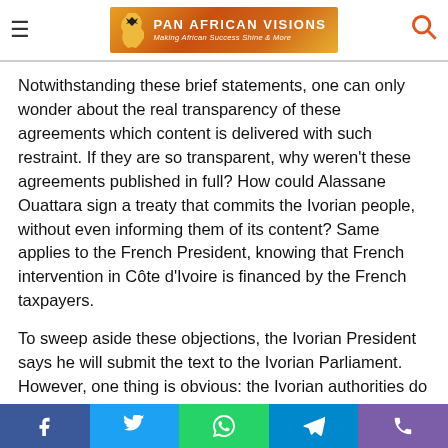Pan African Visions — Making African Success Shine & More
Notwithstanding these brief statements, one can only wonder about the real transparency of these agreements which content is delivered with such restraint. If they are so transparent, why weren't these agreements published in full? How could Alassane Ouattara sign a treaty that commits the Ivorian people, without even informing them of its content? Same applies to the French President, knowing that French intervention in Côte d'Ivoire is financed by the French taxpayers.
To sweep aside these objections, the Ivorian President says he will submit the text to the Ivorian Parliament. However, one thing is obvious: the Ivorian authorities do not seem eager to see the newly elected National Assembly start with its